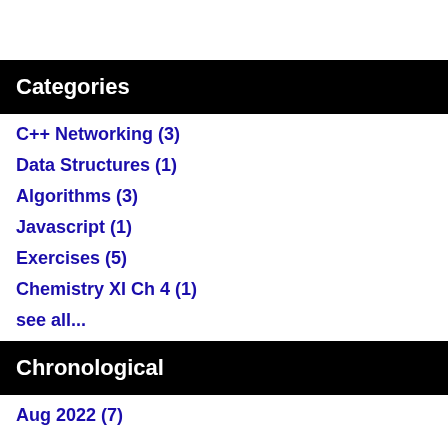Categories
C++ Networking (3)
Data Structures (1)
Algorithms (3)
Javascript (1)
Exercises (5)
Chemistry XI Ch 4 (1)
see all...
Chronological
Aug 2022 (7)